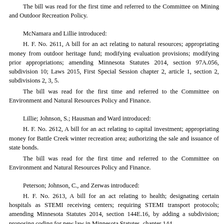The bill was read for the first time and referred to the Committee on Mining and Outdoor Recreation Policy.
McNamara and Lillie introduced:
H. F. No. 2611, A bill for an act relating to natural resources; appropriating money from outdoor heritage fund; modifying evaluation provisions; modifying prior appropriations; amending Minnesota Statutes 2014, section 97A.056, subdivision 10; Laws 2015, First Special Session chapter 2, article 1, section 2, subdivisions 2, 3, 5.
The bill was read for the first time and referred to the Committee on Environment and Natural Resources Policy and Finance.
Lillie; Johnson, S.; Hausman and Ward introduced:
H. F. No. 2612, A bill for an act relating to capital investment; appropriating money for Battle Creek winter recreation area; authorizing the sale and issuance of state bonds.
The bill was read for the first time and referred to the Committee on Environment and Natural Resources Policy and Finance.
Peterson; Johnson, C., and Zerwas introduced:
H. F. No. 2613, A bill for an act relating to health; designating certain hospitals as STEMI receiving centers; requiring STEMI transport protocols; amending Minnesota Statutes 2014, section 144E.16, by adding a subdivision; proposing coding for new law in Minnesota Statutes, chapter 144.